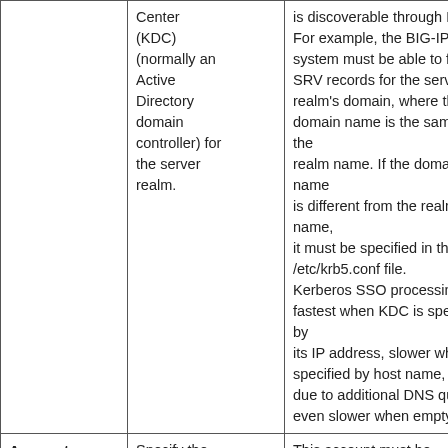|  | Center (KDC) (normally an Active Directory domain controller) for the server realm. | ...is discoverable through DNS. For example, the BIG-IP® system must be able to fetch SRV records for the server realm's domain, where the domain name is the same as the realm name. If the domain name is different from the realm name, it must be specified in the /etc/krb5.conf file. Kerberos SSO processing is fastest when KDC is specified by its IP address, slower when specified by host name, and, due to additional DNS queries, even slower when empty. |
| Account Name | Specify the name of the Active Directory account configured for... | This account must be configured in the Kerberos realm (AD Domain) of the server.

Note: If servers are from multiple realms, each realm (AD Domain) must have its own... |